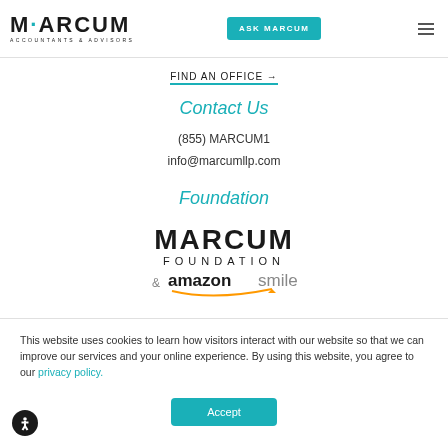MARCUM ACCOUNTANTS & ADVISORS | ASK MARCUM
FIND AN OFFICE →
Contact Us
(855) MARCUM1
info@marcumllp.com
Foundation
[Figure (logo): Marcum Foundation & AmazonSmile logo]
This website uses cookies to learn how visitors interact with our website so that we can improve our services and your online experience. By using this website, you agree to our privacy policy.
Accept